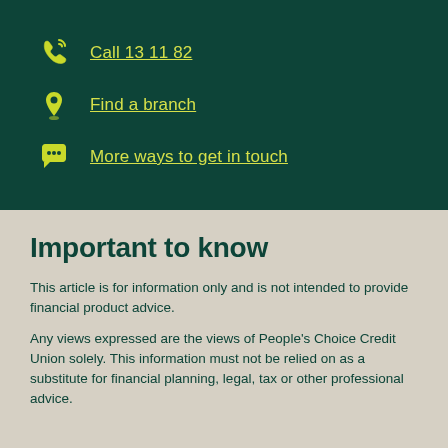Call 13 11 82
Find a branch
More ways to get in touch
Important to know
This article is for information only and is not intended to provide financial product advice.
Any views expressed are the views of People's Choice Credit Union solely. This information must not be relied on as a substitute for financial planning, legal, tax or other professional advice.